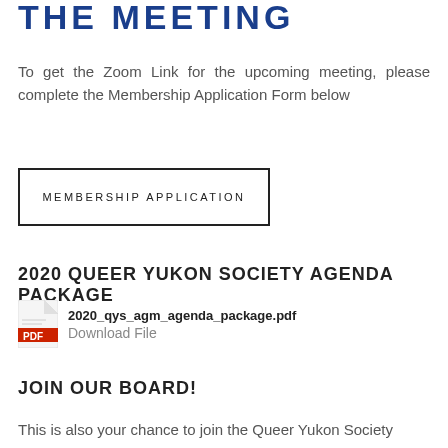THE MEETING
To get the Zoom Link for the upcoming meeting, please complete the Membership Application Form below
MEMBERSHIP APPLICATION
2020 QUEER YUKON SOCIETY AGENDA PACKAGE
[Figure (illustration): PDF file icon (red Adobe-style PDF icon)]
2020_qys_agm_agenda_package.pdf
Download File
JOIN OUR BOARD!
This is also your chance to join the Queer Yukon Society